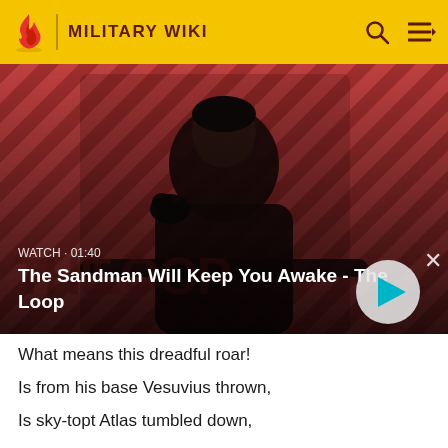MILITARY WIKI
[Figure (screenshot): Video thumbnail showing a dark figure (man in black coat with a raven on his shoulder) against a red and black diagonal striped background. Text overlay reads WATCH · 01:40 and title The Sandman Will Keep You Awake - The Loop with a play button.]
What means this dreadful roar!
Is from his base Vesuvius thrown,
Is sky-topt Atlas tumbled down,
Or Etna's self no more!
Shock after shock torments my ear: